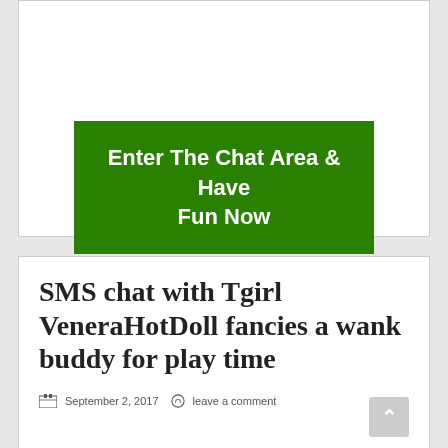[Figure (other): Green call-to-action button with text 'Enter The Chat Area & Have Fun Now' on white card background]
SMS chat with Tgirl VeneraHotDoll fancies a wank buddy for play time
September 2, 2017  leave a comment